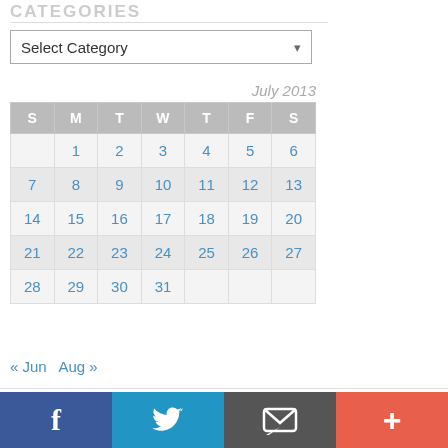CATEGORIES
[Figure (screenshot): Select Category dropdown input box]
| S | M | T | W | T | F | S |
| --- | --- | --- | --- | --- | --- | --- |
|  | 1 | 2 | 3 | 4 | 5 | 6 |
| 7 | 8 | 9 | 10 | 11 | 12 | 13 |
| 14 | 15 | 16 | 17 | 18 | 19 | 20 |
| 21 | 22 | 23 | 24 | 25 | 26 | 27 |
| 28 | 29 | 30 | 31 |  |  |  |
« Jun   Aug »
Fusion theme by digi
[Figure (infographic): Social media bar with Facebook, Twitter, Email, and Plus buttons]